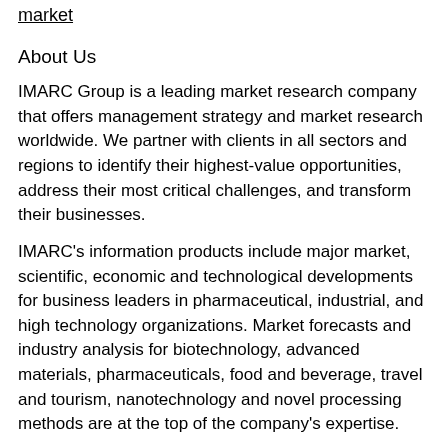market
About Us
IMARC Group is a leading market research company that offers management strategy and market research worldwide. We partner with clients in all sectors and regions to identify their highest-value opportunities, address their most critical challenges, and transform their businesses.
IMARC's information products include major market, scientific, economic and technological developments for business leaders in pharmaceutical, industrial, and high technology organizations. Market forecasts and industry analysis for biotechnology, advanced materials, pharmaceuticals, food and beverage, travel and tourism, nanotechnology and novel processing methods are at the top of the company's expertise.
Flow A...